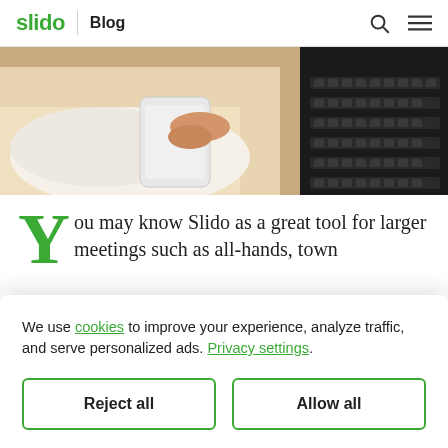slido | Blog
[Figure (photo): Person holding a phone over a laptop keyboard, wearing a white sweater]
You may know Slido as a great tool for larger meetings such as all-hands, town
We use cookies to improve your experience, analyze traffic, and serve personalized ads. Privacy settings.
whether online or hybrid – there are often